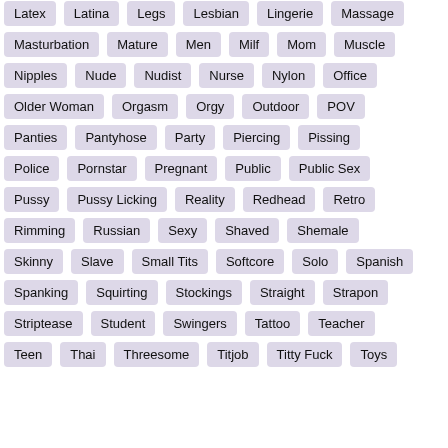Masturbation
Mature
Men
Milf
Mom
Muscle
Nipples
Nude
Nudist
Nurse
Nylon
Office
Older Woman
Orgasm
Orgy
Outdoor
POV
Panties
Pantyhose
Party
Piercing
Pissing
Police
Pornstar
Pregnant
Public
Public Sex
Pussy
Pussy Licking
Reality
Redhead
Retro
Rimming
Russian
Sexy
Shaved
Shemale
Skinny
Slave
Small Tits
Softcore
Solo
Spanish
Spanking
Squirting
Stockings
Straight
Strapon
Striptease
Student
Swingers
Tattoo
Teacher
Teen
Thai
Threesome
Titjob
Titty Fuck
Toys